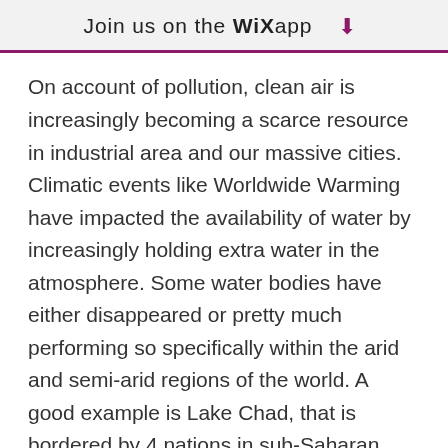Join us on the WiX app
On account of pollution, clean air is increasingly becoming a scarce resource in industrial area and our massive cities. Climatic events like Worldwide Warming have impacted the availability of water by increasingly holding extra water in the atmosphere. Some water bodies have either disappeared or pretty much performing so specifically within the arid and semi-arid regions of the world. A good example is Lake Chad, that is bordered by 4 nations in sub-Saharan Africa (Nigeria, Chad, Niger and Cameroun). The pressure on water has also gravely impacted marine flora and fauna. With an altered atmosphere, some have